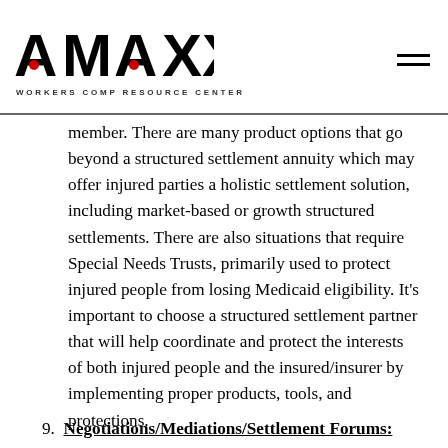AMAXX WORKERS COMP RESOURCE CENTER
member. There are many product options that go beyond a structured settlement annuity which may offer injured parties a holistic settlement solution, including market-based or growth structured settlements. There are also situations that require Special Needs Trusts, primarily used to protect injured people from losing Medicaid eligibility. It’s important to choose a structured settlement partner that will help coordinate and protect the interests of both injured people and the insured/insurer by implementing proper products, tools, and protections.
9. Negotiations/Mediations/Settlement Forums: